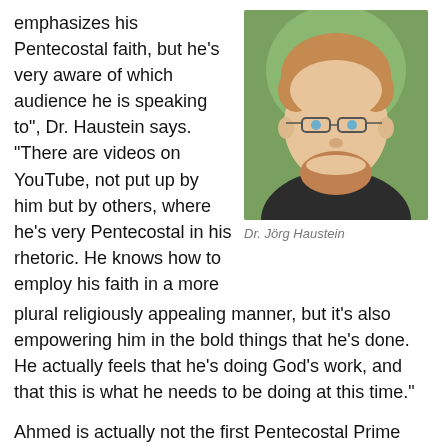emphasizes his Pentecostal faith, but he's very aware of which audience he is speaking to", Dr. Haustein says. "There are videos on YouTube, not put up by him but by others, where he's very Pentecostal in his rhetoric. He knows how to employ his faith in a more plural religiously appealing manner, but it's also empowering him in the bold things that he's done. He actually feels that he's doing God's work, and that this is what he needs to be doing at this time."
[Figure (photo): Headshot of Dr. Jörg Haustein, a young man with curly reddish-brown hair, glasses, and a beard, smiling, with green foliage in the background]
Dr. Jörg Haustein
Ahmed is actually not the first Pentecostal Prime Minister of Ethiopia, his predecessor Hailemariam Desalegn was a Oneness Pentecostal. Dr. Haustein has previously researched his faith and rise to power. I ask him how